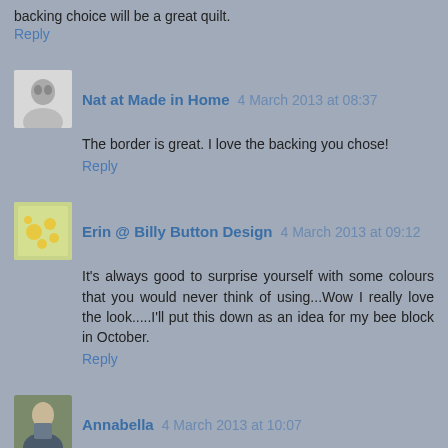backing choice will be a great quilt.
Reply
Nat at Made in Home  4 March 2013 at 08:37
The border is great. I love the backing you chose!
Reply
Erin @ Billy Button Design  4 March 2013 at 09:12
It's always good to surprise yourself with some colours that you would never think of using...Wow I really love the look.....I'll put this down as an idea for my bee block in October.
Reply
Annabella  4 March 2013 at 10:07
The border is gorgeous and I love the teal, grey and mustard. Tres sosphisticated!